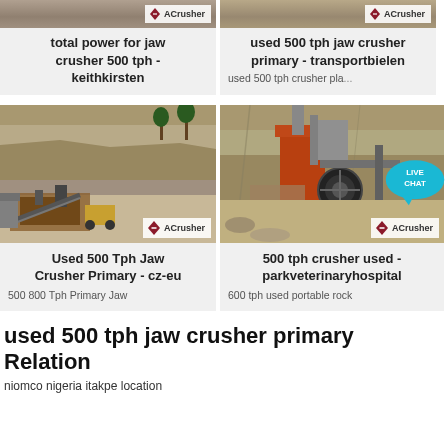[Figure (photo): Partial view of crusher/quarry equipment with ACrusher logo - top left card]
total power for jaw crusher 500 tph - keithkirsten
[Figure (photo): Partial view of crusher/quarry equipment with ACrusher logo - top right card]
used 500 tph jaw crusher primary - transportbielen
used 500 tph crusher pla...
[Figure (photo): Quarry with jaw crusher equipment and ACrusher logo - bottom left card]
Used 500 Tph Jaw Crusher Primary - cz-eu
500 800 Tph Primary Jaw
[Figure (photo): Quarry with large orange crusher machinery and ACrusher logo - bottom right card]
500 tph crusher used - parkveterinaryhospital
600 tph used portable rock
used 500 tph jaw crusher primary Relation
niomco nigeria itakpe location